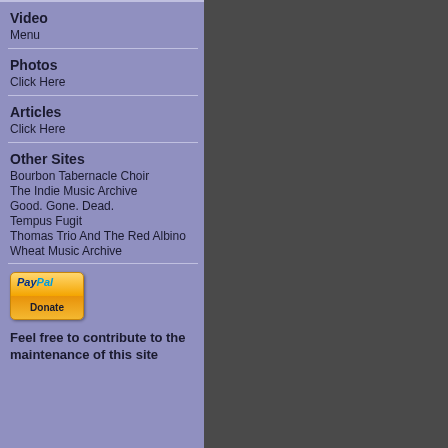Video
Menu
Photos
Click Here
Articles
Click Here
Other Sites
Bourbon Tabernacle Choir
The Indie Music Archive
Good. Gone. Dead.
Tempus Fugit
Thomas Trio And The Red Albino
Wheat Music Archive
[Figure (logo): PayPal Donate button]
Feel free to contribute to the maintenance of this site